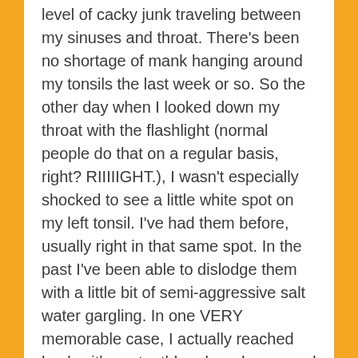level of cacky junk traveling between my sinuses and throat. There's been no shortage of mank hanging around my tonsils the last week or so. So the other day when I looked down my throat with the flashlight (normal people do that on a regular basis, right? RIIIIIGHT.), I wasn't especially shocked to see a little white spot on my left tonsil. I've had them before, usually right in that same spot. In the past I've been able to dislodge them with a little bit of semi-aggressive salt water gargling. In one VERY memorable case, I actually reached back with my toothbrush and managed to knock a stone loose with the bristles…but then my gag reflex took over and I booted up my breakfast. So nobody REALLY won that round.
I should note here: the stone in question doesn't